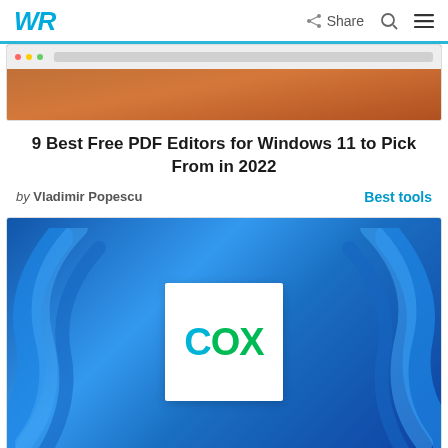WR | Share | Search | Menu
[Figure (screenshot): Partial screenshot of a browser window showing a website interface, with an orange/warm background sunset photo]
9 Best Free PDF Editors for Windows 11 to Pick From in 2022
by Vladimir Popescu    Best tools
[Figure (logo): COX logo on a white card centered over a blue Windows 11 swirl wallpaper background]